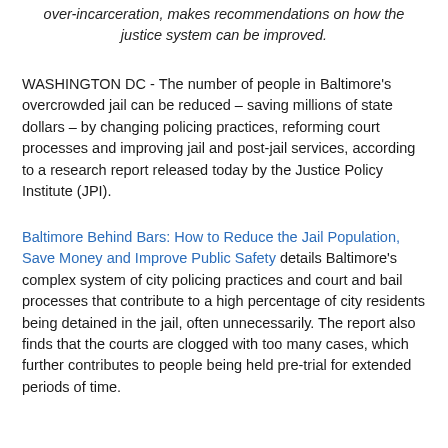over-incarceration, makes recommendations on how the justice system can be improved.
WASHINGTON DC - The number of people in Baltimore's overcrowded jail can be reduced – saving millions of state dollars – by changing policing practices, reforming court processes and improving jail and post-jail services, according to a research report released today by the Justice Policy Institute (JPI).
Baltimore Behind Bars: How to Reduce the Jail Population, Save Money and Improve Public Safety details Baltimore's complex system of city policing practices and court and bail processes that contribute to a high percentage of city residents being detained in the jail, often unnecessarily. The report also finds that the courts are clogged with too many cases, which further contributes to people being held pre-trial for extended periods of time.